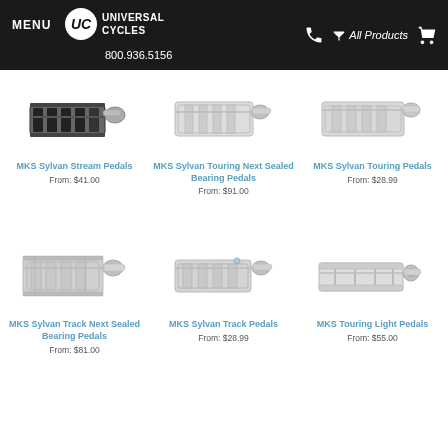MENU | Universal Cycles | 800.936.5156 | All Products
[Figure (photo): MKS Sylvan Stream Pedals - black and silver bicycle pedal]
MKS Sylvan Stream Pedals
From: $41.00
[Figure (photo): MKS Sylvan Touring Next Sealed Bearing Pedals - silver bicycle pedal]
MKS Sylvan Touring Next Sealed Bearing Pedals
From: $91.00
[Figure (photo): MKS Sylvan Touring Pedals - silver bicycle pedal]
MKS Sylvan Touring Pedals
From: $28.99
[Figure (photo): MKS Sylvan Track Next Sealed Bearing Pedals - silver bicycle pedal]
MKS Sylvan Track Next Sealed Bearing Pedals
From: $81.00
[Figure (photo): MKS Sylvan Track Pedals - silver bicycle pedal]
MKS Sylvan Track Pedals
From: $28.99
[Figure (photo): MKS Touring Light Pedals - silver bicycle pedal]
MKS Touring Light Pedals
From: $55.00